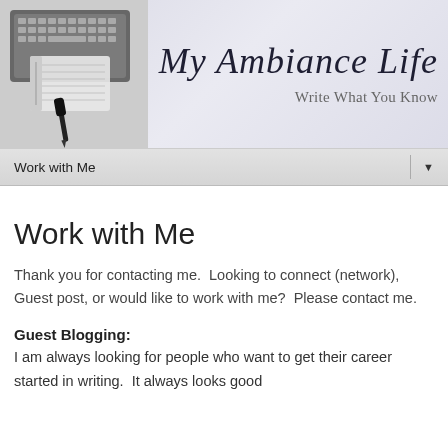[Figure (photo): Blog header banner showing a keyboard, notebook, and pen on the left, with cursive script reading 'My Ambiance Life' and subtitle 'Write What You Know' on a light lavender-grey background]
Work with Me ▼
Work with Me
Thank you for contacting me.  Looking to connect (network), Guest post, or would like to work with me?  Please contact me.
Guest Blogging:
I am always looking for people who want to get their career started in writing.  It always looks good